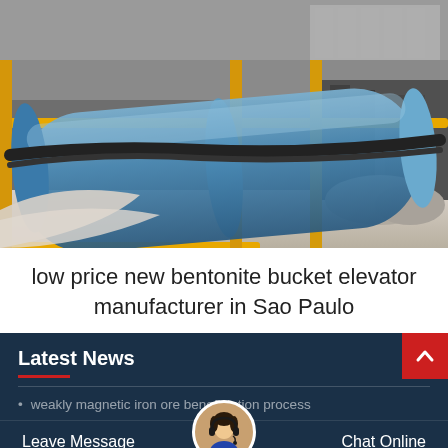[Figure (photo): Industrial factory interior showing a large blue cylindrical tube or pipe on a conveyor/roller system, with yellow safety railings. Black and white/muted tone warehouse environment with machinery and bags of material in background.]
low price new bentonite bucket elevator manufacturer in Sao Paulo
Latest News
weakly magnetic iron ore beneficiation process
gold in quartz rock with pyrite